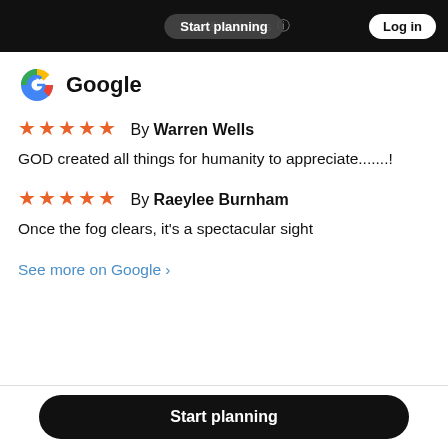Start planning   places & activities   Log in
[Figure (logo): Google 'G' logo in red, yellow, green, blue colors]
Google
★★★★★  By Warren Wells
GOD created all things for humanity to appreciate.......!
★★★★★  By Raeylee Burnham
Once the fog clears, it's a spectacular sight
See more on Google ›
Start planning